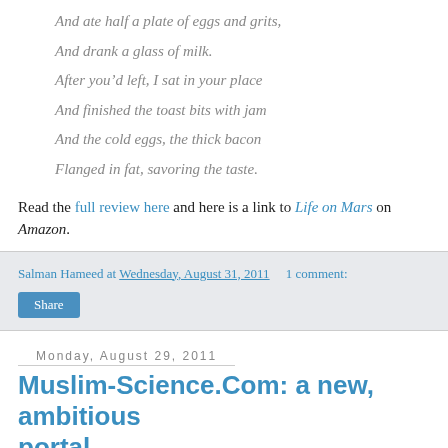And ate half a plate of eggs and grits,
And drank a glass of milk.
After you'd left, I sat in your place
And finished the toast bits with jam
And the cold eggs, the thick bacon
Flanged in fat, savoring the taste.
Read the full review here and here is a link to Life on Mars on Amazon.
Salman Hameed at Wednesday, August 31, 2011   1 comment:
Share
Monday, August 29, 2011
Muslim-Science.Com: a new, ambitious portal